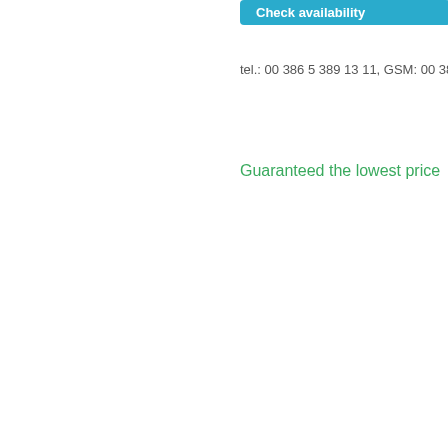[Figure (other): A teal/blue button labeled 'Check availability' partially visible at top right of the page]
tel.: 00 386 5 389 13 11, GSM: 00 386
Guaranteed the lowest price